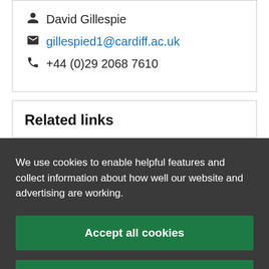David Gillespie
gillespied1@cardiff.ac.uk
+44 (0)29 2068 7610
Related links
We use cookies to enable helpful features and collect information about how well our website and advertising are working.
Accept all cookies
Manage your cookie preferences